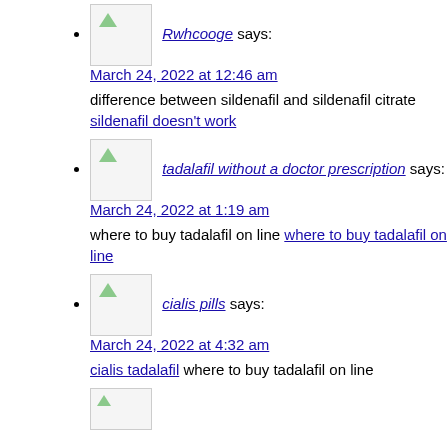Rwhcooge says: March 24, 2022 at 12:46 am
difference between sildenafil and sildenafil citrate sildenafil doesn't work
tadalafil without a doctor prescription says: March 24, 2022 at 1:19 am
where to buy tadalafil on line where to buy tadalafil on line
cialis pills says: March 24, 2022 at 4:32 am
cialis tadalafil where to buy tadalafil on line